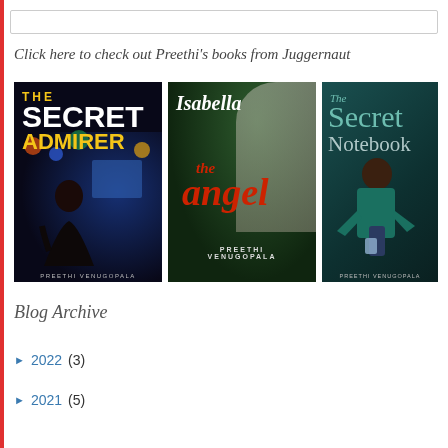Click here to check out Preethi's books from Juggernaut
[Figure (illustration): Three book covers by Preethi Venugopala: 'The Secret Admirer', 'Isabella the angel', and 'The Secret Notebook']
Blog Archive
► 2022 (3)
► 2021 (5)